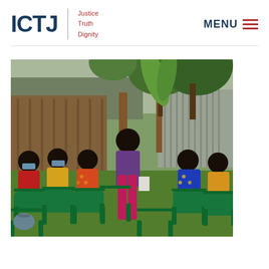ICTJ | Justice Truth Dignity | MENU
[Figure (photo): Group of women seated on green plastic chairs in an outdoor setting, with trees and a wooden fence in the background. One woman is standing and appears to be presenting or speaking. The participants are wearing colorful traditional clothing and face masks.]